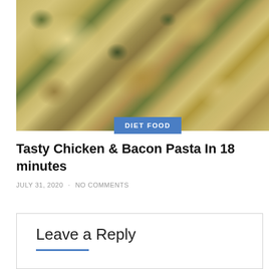[Figure (photo): Close-up photo of creamy pasta dish with chicken, bacon, and green herbs (spinach), shell and penne pasta shapes visible with white creamy sauce]
DIET FOOD
Tasty Chicken & Bacon Pasta In 18 minutes
JULY 31, 2020 · NO COMMENTS
Leave a Reply